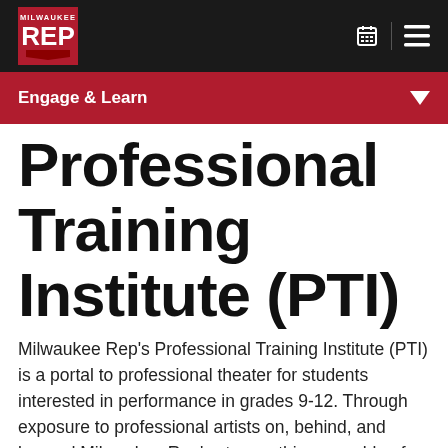Milwaukee REP
Engage & Learn
Professional Training Institute (PTI)
Milwaukee Rep’s Professional Training Institute (PTI) is a portal to professional theater for students interested in performance in grades 9-12. Through exposure to professional artists on, behind, and beyond Milwaukee Rep’s stages, this ensemble of performers will prepare for a career in theater. Students will gather nine times over the